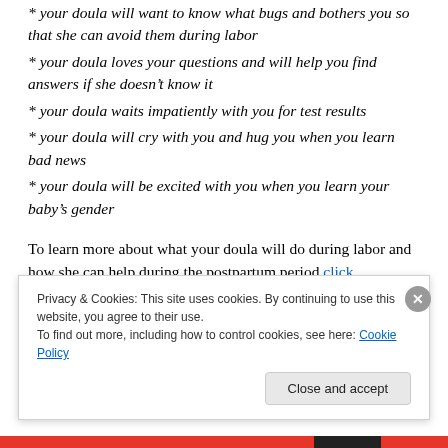* your doula will want to know what bugs and bothers you so that she can avoid them during labor
* your doula loves your questions and will help you find answers if she doesn’t know it
* your doula waits impatiently with you for test results
* your doula will cry with you and hug you when you learn bad news
* your doula will be excited with you when you learn your baby’s gender
To learn more about what your doula will do during labor and how she can help during the postpartum period click